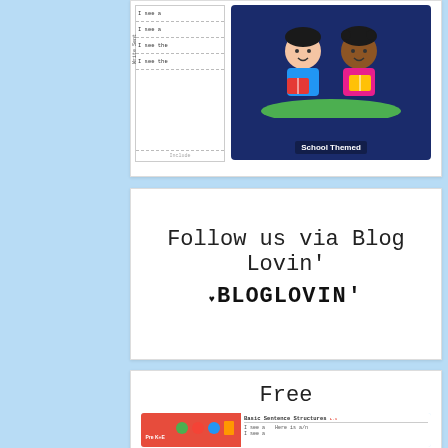[Figure (illustration): Educational worksheet card showing sentence strips with 'I see a' and 'I see the' text on left, and a school-themed illustration with cartoon children reading books on dark blue background labeled 'School Themed' on right]
Follow us via Blog Lovin'
[Figure (logo): Bloglovin logo text in bold serif font]
Free
[Figure (illustration): Educational resource thumbnail showing Pre K+K badge on left and Basic Sentence Structures worksheet with 'I see a' and 'Here is a/an' sentences on right]